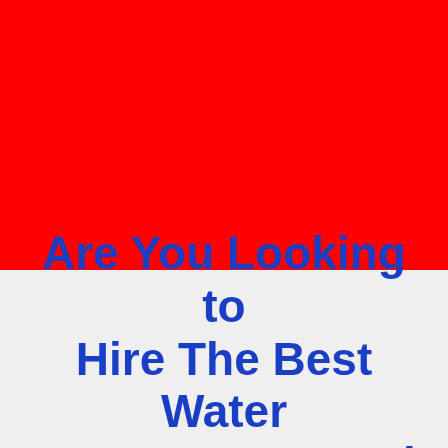[Figure (illustration): Solid red rectangle filling the top portion of the page]
Are You Looking to Hire The Best Water Damage Removal